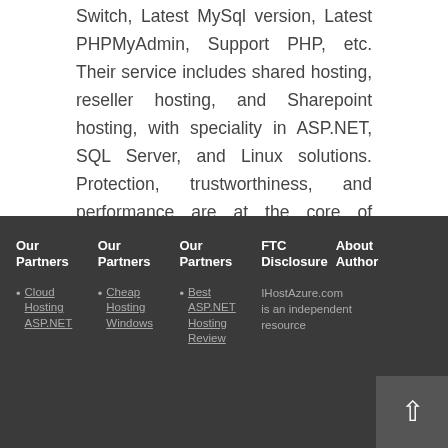Switch, Latest MySql version, Latest PHPMyAdmin, Support PHP, etc. Their service includes shared hosting, reseller hosting, and Sharepoint hosting, with speciality in ASP.NET, SQL Server, and Linux solutions. Protection, trustworthiness, and performance are at the core of hosting operations to make certain every website and software hosted is so secured and performs at the best possible level.
Our Partners
Our Partners
Our Partners
FTC Disclosure
About Author
Cloud Hosting ASP.NET
Cheap Hosting Windows
Best ASP.NET Hosting Review E...
IHostAzure.com is an independent resource...